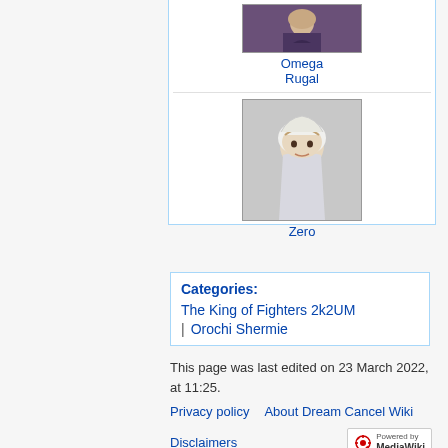[Figure (photo): Omega Rugal character portrait thumbnail]
Omega Rugal
[Figure (photo): Zero character portrait thumbnail]
Zero
Categories:
The King of Fighters 2k2UM
Orochi Shermie
This page was last edited on 23 March 2022, at 11:25.
Privacy policy    About Dream Cancel Wiki
Disclaimers